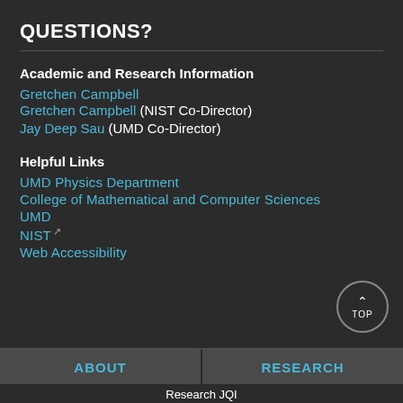QUESTIONS?
Academic and Research Information
Gretchen Campbell (NIST Co-Director)
Jay Deep Sau (UMD Co-Director)
Helpful Links
UMD Physics Department
College of Mathematical and Computer Sciences
UMD
NIST
Web Accessibility
ABOUT   RESEARCH   Research JQI